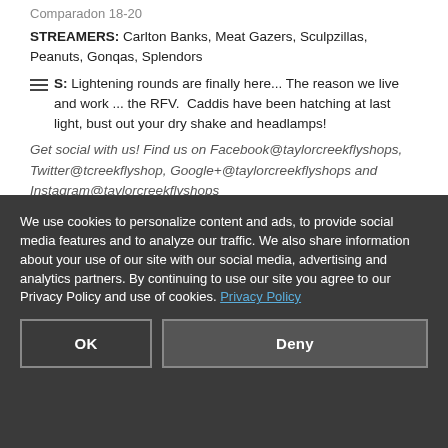Comparadon 18-20
STREAMERS: Carlton Banks, Meat Gazers, Sculpzillas, Peanuts, Gonqas, Splendors
S: Lightening rounds are finally here... The reason we live and work ... the RFV.  Caddis have been hatching at last light, bust out your dry shake and headlamps!
Get social with us! Find us on Facebook@taylorcreekflyshops, Twitter@tcreekflyshop, Google+@taylorcreekflyshops and Instagram@taylorcreekflyshops
We use cookies to personalize content and ads, to provide social media features and to analyze our traffic. We also share information about your use of our site with our social media, advertising and analytics partners. By continuing to use our site you agree to our Privacy Policy and use of cookies. Privacy Policy
OK
Deny